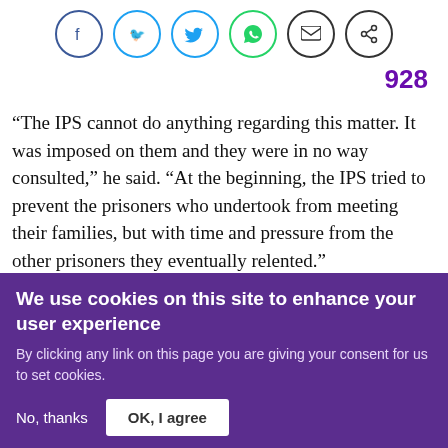[Figure (infographic): Social sharing icons row: Facebook (blue circle), Twitter (blue circle), WhatsApp (green circle), Email/envelope (black circle), Share (black circle)]
928
“The IPS cannot do anything regarding this matter. It was imposed on them and they were in no way consulted,” he said. “At the beginning, the IPS tried to prevent the prisoners who undertook from meeting their families, but with time and pressure from the other prisoners they eventually relented.”
We use cookies on this site to enhance your user experience
By clicking any link on this page you are giving your consent for us to set cookies.
No, thanks   OK, I agree